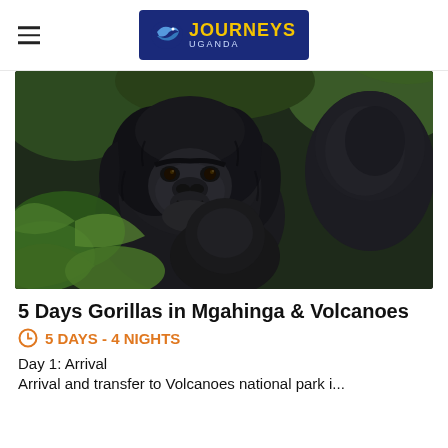Journeys Uganda
[Figure (photo): Close-up photograph of young mountain gorillas with dark fur, surrounded by green foliage. Two gorillas visible, one in foreground looking toward camera.]
5 Days Gorillas in Mgahinga & Volcanoes
5 DAYS - 4 NIGHTS
Day 1: Arrival
Arrival and transfer to Volcanoes national park i...